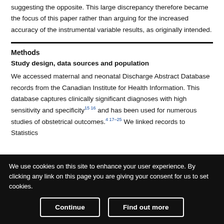suggesting the opposite. This large discrepancy therefore became the focus of this paper rather than arguing for the increased accuracy of the instrumental variable results, as originally intended.
Methods
Study design, data sources and population
We accessed maternal and neonatal Discharge Abstract Database records from the Canadian Institute for Health Information. This database captures clinically significant diagnoses with high sensitivity and specificity15 16 and has been used for numerous studies of obstetrical outcomes.4 17–25 We linked records to Statistics
We use cookies on this site to enhance your user experience. By clicking any link on this page you are giving your consent for us to set cookies.
Continue
Find out more